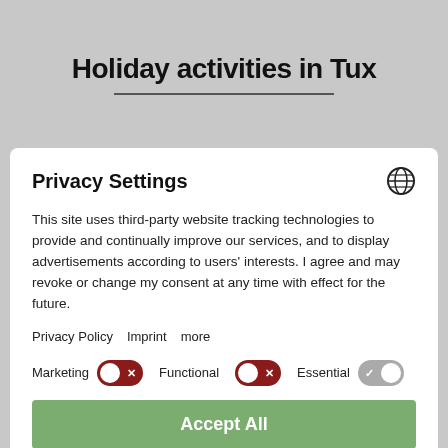Holiday activities in Tux
Privacy Settings
This site uses third-party website tracking technologies to provide and continually improve our services, and to display advertisements according to users' interests. I agree and may revoke or change my consent at any time with effect for the future.
Privacy Policy   Imprint   more
Marketing  [toggle off]  Functional  [toggle off]  Essential  [toggle on]
Accept All
Save Services
Powered by Usercentrics Consent Management